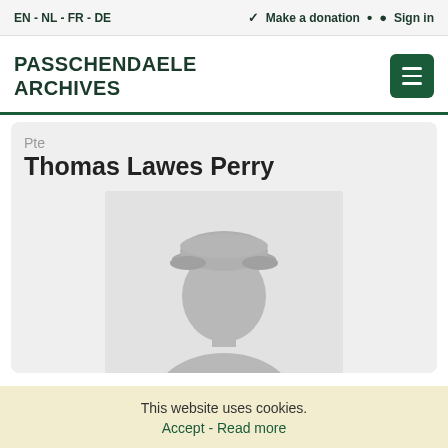EN - NL - FR - DE    Make a donation  •  Sign in
PASSCHENDAELE ARCHIVES
Pte
Thomas Lawes Perry
[Figure (photo): Placeholder silhouette photo of a soldier wearing a military cap, grey tones]
This website uses cookies.
Accept - Read more